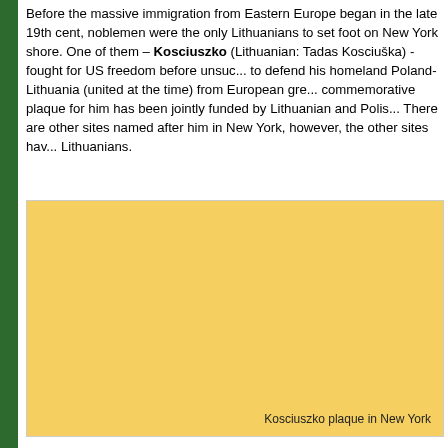Before the massive immigration from Eastern Europe began in the late 19th cent, noblemen were the only Lithuanians to set foot on New York shore. One of them – Kosciuszko (Lithuanian: Tadas Kosciuška) - fought for US freedom before unsuccesfully trying to defend his homeland Poland-Lithuania (united at the time) from European greed. A commemorative plaque for him has been jointly funded by Lithuanian and Polish organizations. There are other sites named after him in New York, however, the other sites have not been visited by Lithuanians.
[Figure (photo): Large yellow/golden colored image placeholder representing a photo of Kosciuszko plaque in New York]
Kosciuszko plaque in New York